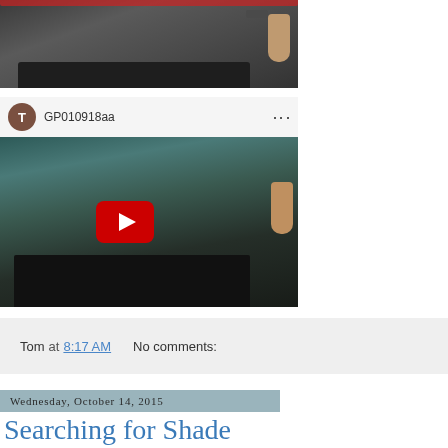[Figure (screenshot): Top portion of a car interior video thumbnail showing dashboard and hand on windshield frame]
[Figure (screenshot): YouTube video player showing GP010918aa video of car interior with red play button, avatar T, and three-dot menu]
Tom at 8:17 AM   No comments:
Wednesday, October 14, 2015
Searching for Shade